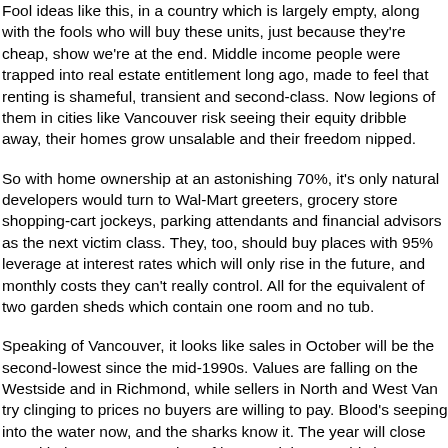Fool ideas like this, in a country which is largely empty, along with the fools who will buy these units, just because they're cheap, show we're at the end. Middle income people were trapped into real estate entitlement long ago, made to feel that renting is shameful, transient and second-class. Now legions of them in cities like Vancouver risk seeing their equity dribble away, their homes grow unsalable and their freedom nipped.
So with home ownership at an astonishing 70%, it's only natural developers would turn to Wal-Mart greeters, grocery store shopping-cart jockeys, parking attendants and financial advisors as the next victim class. They, too, should buy places with 95% leverage at interest rates which will only rise in the future, and monthly costs they can't really control. All for the equivalent of two garden sheds which contain one room and no tub.
Speaking of Vancouver, it looks like sales in October will be the second-lowest since the mid-1990s. Values are falling on the Westside and in Richmond, while sellers in North and West Van try clinging to prices no buyers are willing to pay. Blood's seeping into the water now, and the sharks know it. The year will close out with the greatest number of homes sitting unsold since 2008. Next year could start a feeding frenzy.
“We are in the middle of it now and there is no turning this thing around for a